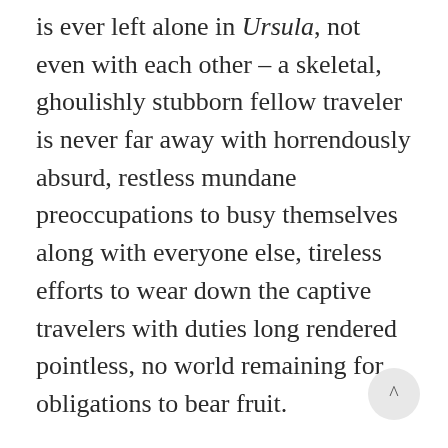is ever left alone in Ursula, not even with each other – a skeletal, ghoulishly stubborn fellow traveler is never far away with horrendously absurd, restless mundane preoccupations to busy themselves along with everyone else, tireless efforts to wear down the captive travelers with duties long rendered pointless, no world remaining for obligations to bear fruit.